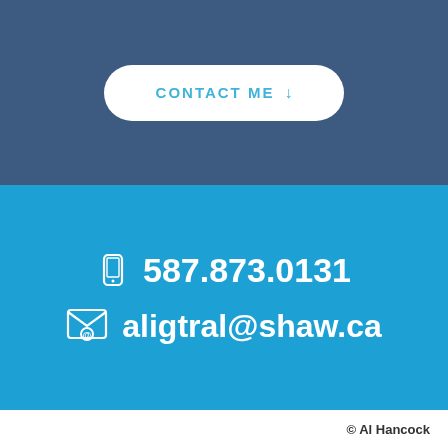[Figure (other): Blue-grey top section with a white rounded pill button labeled CONTACT ME with a downward arrow]
CONTACT ME ↓
587.873.0131
aligtral@shaw.ca
© Al Hancock